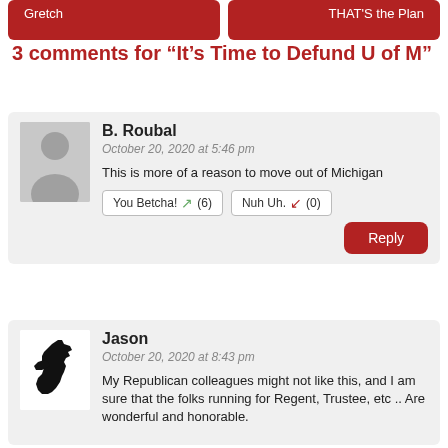Gretch | THAT'S the Plan
3 comments for “It’s Time to Defund U of M”
B. Roubal
October 20, 2020 at 5:46 pm
This is more of a reason to move out of Michigan
You Betcha! (6)  Nuh Uh. (0)
Reply
Jason
October 20, 2020 at 8:43 pm
My Republican colleagues might not like this, and I am sure that the folks running for Regent, Trustee, etc .. Are wonderful and honorable.